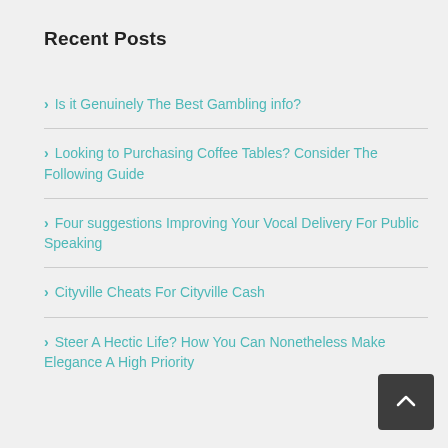Recent Posts
Is it Genuinely The Best Gambling info?
Looking to Purchasing Coffee Tables? Consider The Following Guide
Four suggestions Improving Your Vocal Delivery For Public Speaking
Cityville Cheats For Cityville Cash
Steer A Hectic Life? How You Can Nonetheless Make Elegance A High Priority